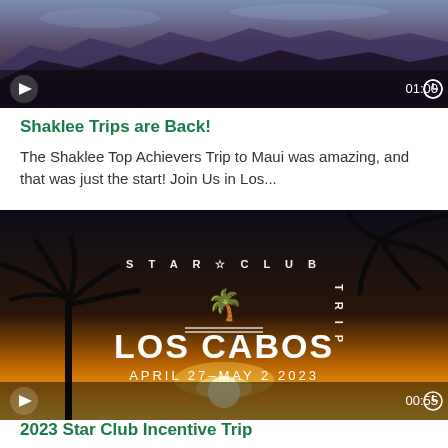[Figure (screenshot): Video thumbnail showing a mountainous landscape at dusk/twilight with dark purple-blue tones. Play button overlay at bottom left and duration '01:00' at bottom right.]
Shaklee Trips are Back!
The Shaklee Top Achievers Trip to Maui was amazing, and that was just the start! Join Us in Los...
[Figure (screenshot): Video thumbnail showing 'Star Club Trip - Los Cabos - April 27-May 2, 2023' text overlay with palm tree silhouettes against a sunset sky. Play button at bottom left and duration '00:55' at bottom right.]
2023 Star Club Incentive Trip